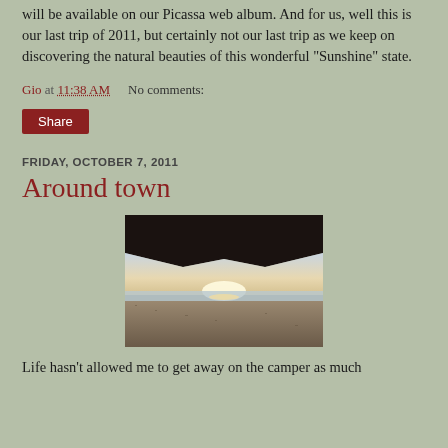will be available on our Picassa web album. And for us, well this is our last trip of 2011, but certainly not our last trip as we keep on discovering the natural beauties of this wonderful "Sunshine" state.
Gio at 11:38 AM    No comments:
Share
FRIDAY, OCTOBER 7, 2011
Around town
[Figure (photo): A beach scene viewed from under a dark overhang/umbrella, showing sand, ocean horizon, and a sunset with bright light on the water.]
Life hasn't allowed me to get away on the camper as much